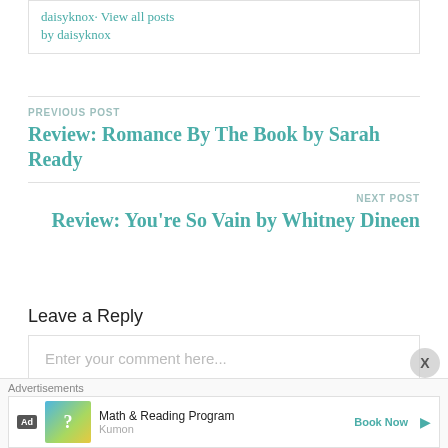by daisyknox
PREVIOUS POST
Review: Romance By The Book by Sarah Ready
NEXT POST
Review: You're So Vain by Whitney Dineen
Leave a Reply
Enter your comment here...
Advertisements
Ad  Math & Reading Program  Kumon  Book Now